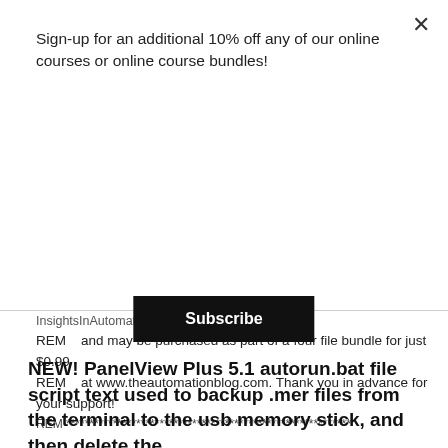Sign-up for an additional 10% off any of our online courses or online course bundles!
Subscribe
InsightsInAutomation.com
REM    and may be purchased as part of a four file bundle for just $0.99
REM    at www.theautomationblog.com. Thank you in advance for your support!
REM ********************************************************
*****
NEW! PanelView Plus 5.1 autorun.bat file script text used to backup .mer files from the terminal to the usb memory stick, and then delete the